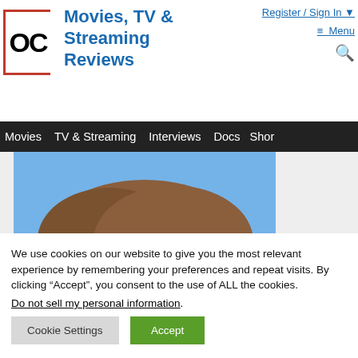[Figure (logo): OC logo mark with red bracket border on left and bottom sides]
Movies, TV & Streaming Reviews
Register / Sign In ▼
≡ Menu
🔍
Movies   TV & Streaming   Interviews   Docs   Shor
[Figure (photo): Partial photo showing top of a person's head with brown hair against a blue sky background]
We use cookies on our website to give you the most relevant experience by remembering your preferences and repeat visits. By clicking "Accept", you consent to the use of ALL the cookies.
Do not sell my personal information.
Cookie Settings
Accept